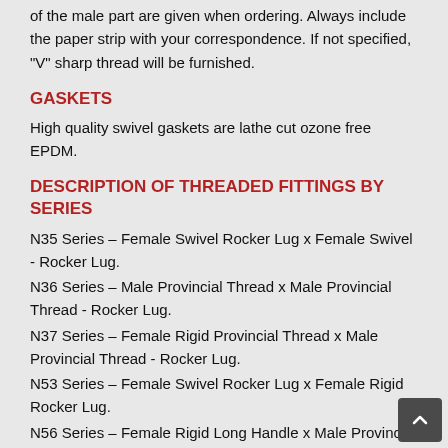of the male part are given when ordering. Always include the paper strip with your correspondence. If not specified, "V" sharp thread will be furnished.
GASKETS
High quality swivel gaskets are lathe cut ozone free EPDM.
DESCRIPTION OF THREADED FITTINGS BY SERIES
N35 Series – Female Swivel Rocker Lug x Female Swivel - Rocker Lug.
N36 Series – Male Provincial Thread x Male Provincial Thread - Rocker Lug.
N37 Series – Female Rigid Provincial Thread x Male Provincial Thread - Rocker Lug.
N53 Series – Female Swivel Rocker Lug x Female Rigid Rocker Lug.
N56 Series – Female Rigid Long Handle x Male Provincial